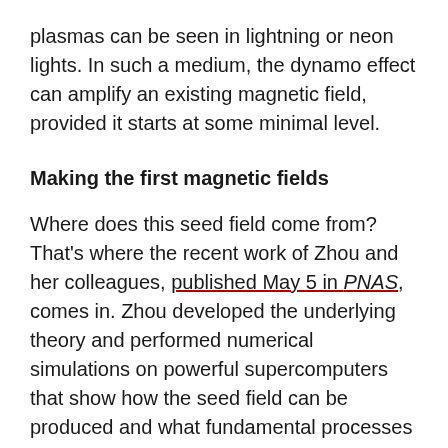plasmas can be seen in lightning or neon lights. In such a medium, the dynamo effect can amplify an existing magnetic field, provided it starts at some minimal level.
Making the first magnetic fields
Where does this seed field come from? That's where the recent work of Zhou and her colleagues, published May 5 in PNAS, comes in. Zhou developed the underlying theory and performed numerical simulations on powerful supercomputers that show how the seed field can be produced and what fundamental processes are at work. An important aspect of the plasma that exists between stars and galaxies is that it is extraordinarily diffuse — typically